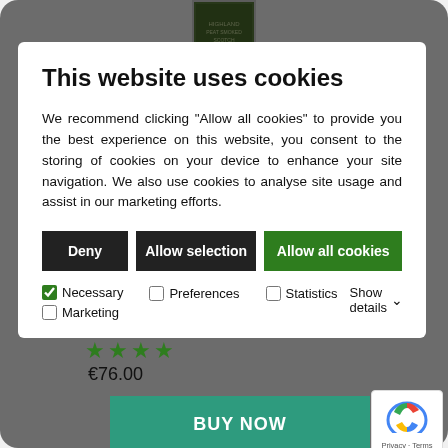This website uses cookies
We recommend clicking “Allow all cookies” to provide you the best experience on this website, you consent to the storing of cookies on your device to enhance your site navigation. We also use cookies to analyse site usage and assist in our marketing efforts.
Deny | Allow selection | Allow all cookies
Necessary  Preferences  Statistics  Show details  Marketing
€76.00
BUY NOW